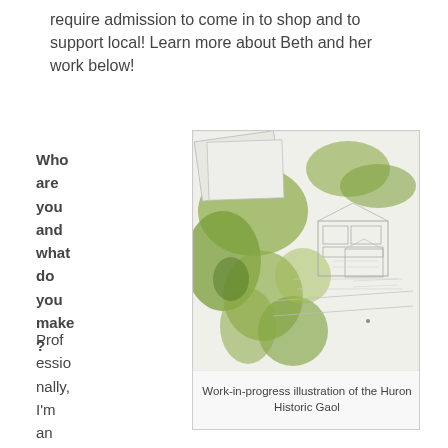require admission to come in to shop and to support local! Learn more about Beth and her work below!
Who are you and what do you make?
[Figure (illustration): Work-in-progress watercolor and pencil illustration of the Huron Historic Gaol, showing green watercolor washes over architectural line drawings of buildings and grounds.]
Work-in-progress illustration of the Huron Historic Gaol
Professionally, I'm an artist